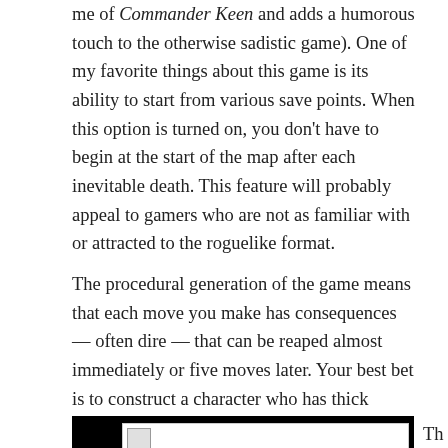me of Commander Keen and adds a humorous touch to the otherwise sadistic game). One of my favorite things about this game is its ability to start from various save points. When this option is turned on, you don't have to begin at the start of the map after each inevitable death. This feature will probably appeal to gamers who are not as familiar with or attracted to the roguelike format.
The procedural generation of the game means that each move you make has consequences — often dire — that can be reaped almost immediately or five moves later. Your best bet is to construct a character who has thick enough skin to last longer than a few minutes in the maze of death that lies in front of you.
[Figure (screenshot): Partial game screenshot with black border, showing a white content area with a broken image icon in the top left corner.]
Th